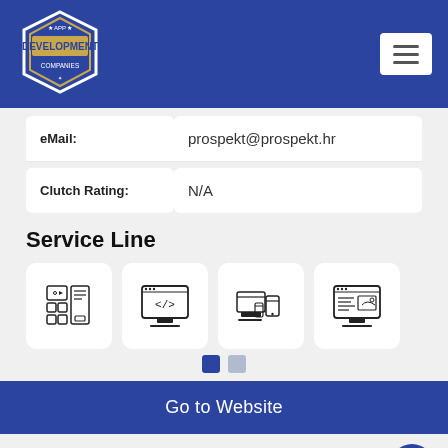[Figure (logo): App Development Companies hexagon logo in white and gold on blue background]
[Figure (other): Hamburger menu button (three horizontal lines) on white background]
| eMail: | prospekt@prospekt.hr |
| Clutch Rating: | N/A |
Service Line
[Figure (other): Four service line icons: mobile/app grid, web code monitor, responsive devices, content/web monitor]
Go to Website
[Figure (other): Scroll-to-top circular button with upward arrow]
[Figure (other): Red bar at bottom of page]